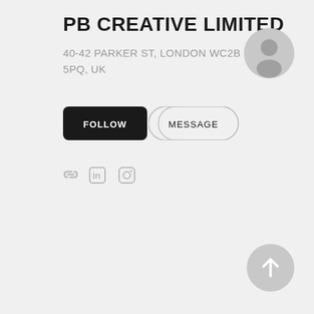PB CREATIVE LIMITED
40-42 PARKER ST, LONDON WC2B 5PQ, UK
[Figure (screenshot): FOLLOW button (black filled, rounded rectangle) and MESSAGE button (outlined, rounded rectangle)]
[Figure (screenshot): Social media icons: link/chain icon, LinkedIn icon, Instagram icon — all in light grey]
[Figure (screenshot): Grey circular user avatar placeholder icon in top right]
[Figure (screenshot): Grey circular scroll-to-top arrow icon in bottom right]